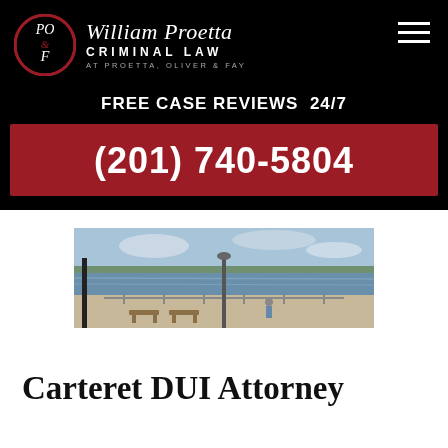[Figure (logo): William Proetta Criminal Law logo with PO&F circular emblem and firm name]
FREE CASE REVIEWS  24/7
(201) 740-5804
[Figure (photo): Waterfront scene with a dock/boardwalk, lamp post, seating, and a river or bay in the background under partly cloudy sky]
Carteret DUI Attorney